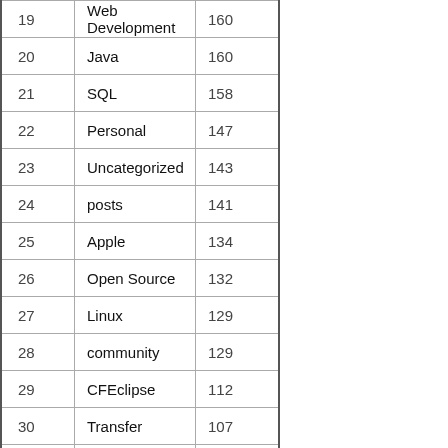| # | Category | Count |
| --- | --- | --- |
| 19 | Web Development | 160 |
| 20 | Java | 160 |
| 21 | SQL | 158 |
| 22 | Personal | 147 |
| 23 | Uncategorized | 143 |
| 24 | posts | 141 |
| 25 | Apple | 134 |
| 26 | Open Source | 132 |
| 27 | Linux | 129 |
| 28 | community | 129 |
| 29 | CFEclipse | 112 |
| 30 | Transfer | 107 |
| 31 | jQuery | 105 |